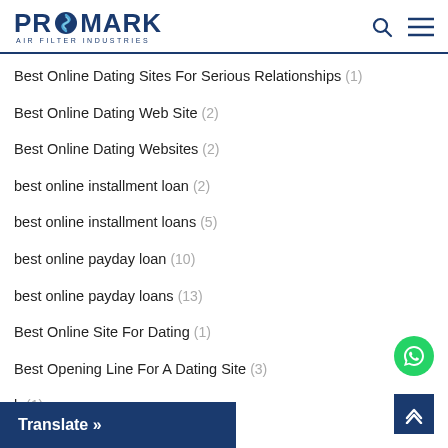PROMARK AIR FILTER INDUSTRIES
Best Online Dating Sites For Serious Relationships (1)
Best Online Dating Web Site (2)
Best Online Dating Websites (2)
best online installment loan (2)
best online installment loans (5)
best online payday loan (10)
best online payday loans (13)
Best Online Site For Dating (1)
Best Opening Line For A Dating Site (3)
b (1)